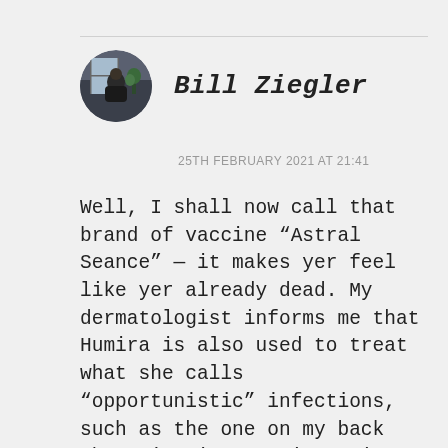[Figure (photo): Circular avatar photo of Bill Ziegler, showing a person seated indoors]
Bill Ziegler
25TH FEBRUARY 2021 AT 21:41
Well, I shall now call that brand of vaccine “Astral Seance” — it makes yer feel like yer already dead. My dermatologist informs me that Humira is also used to treat what she calls “opportunistic” infections, such as the one on my back that Lisa is treating twice per day. It is called Guttate